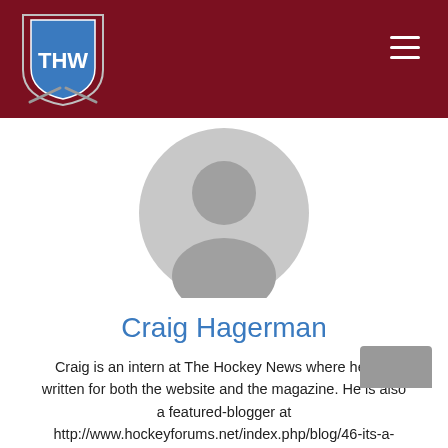THW – The Hockey Writers
[Figure (illustration): Default user avatar – grey silhouette of a person on a light grey circular background]
Craig Hagerman
Craig is an intern at The Hockey News where he has written for both the website and the magazine. He is also a featured-blogger at http://www.hockeyforums.net/index.php/blog/46-its-a-canadian-game/. Craig has an Honours in Journalism from Wilfird Laurier University and is currently completing the Sports Journalism Program at Centennial College. Follow him on Twitter @Craig_Hagerman.